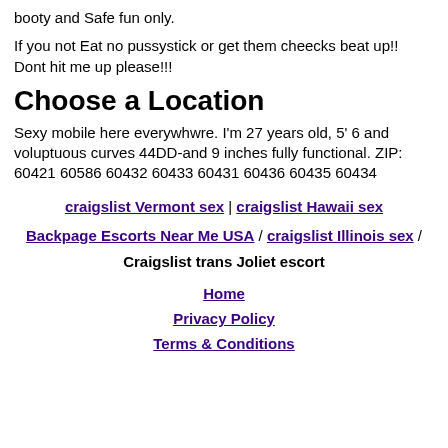booty and Safe fun only.
If you not Eat no pussystick or get them cheecks beat up!! Dont hit me up please!!!
Choose a Location
Sexy mobile here everywhwre. I'm 27 years old, 5' 6 and voluptuous curves 44DD-and 9 inches fully functional. ZIP: 60421 60586 60432 60433 60431 60436 60435 60434
craigslist Vermont sex | craigslist Hawaii sex
Backpage Escorts Near Me USA / craigslist Illinois sex / Craigslist trans Joliet escort
Home
Privacy Policy
Terms & Conditions